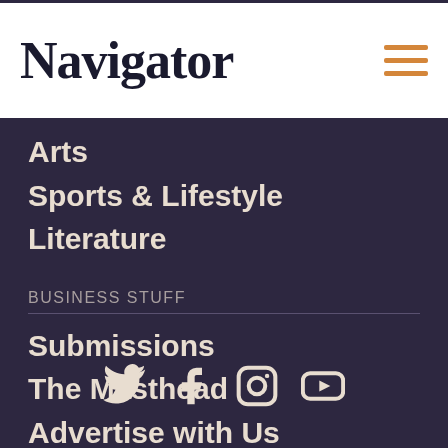Navigator
Arts
Sports & Lifestyle
Literature
BUSINESS STUFF
Submissions
The Masthead
Advertise with Us
[Figure (infographic): Social media icons: Twitter, Facebook, Instagram, YouTube]